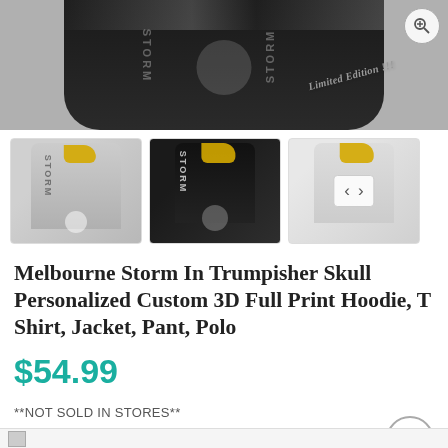[Figure (photo): Main product image of Melbourne Storm Trumpisher Skull hoodie, black with white skull print and yellow hair, shown on mannequin upper body. Limited Edition badge and zoom button visible.]
[Figure (photo): Three thumbnail images of the hoodie/jacket product from different angles: left angle (gray/white), front (black with skull and STORM text), right angle (white/black). Navigation arrows visible on right thumbnail.]
Melbourne Storm In Trumpisher Skull Personalized Custom 3D Full Print Hoodie, T Shirt, Jacket, Pant, Polo
$54.99
**NOT SOLD IN STORES**
Tip: Free shipping for orders over $100